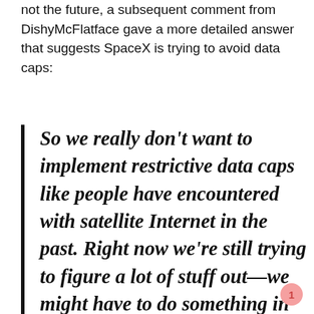not the future, a subsequent comment from DishyMcFlatface gave a more detailed answer that suggests SpaceX is trying to avoid data caps:
So we really don't want to implement restrictive data caps like people have encountered with satellite Internet in the past. Right now we're still trying to figure a lot of stuff out—we might have to do something in the future to